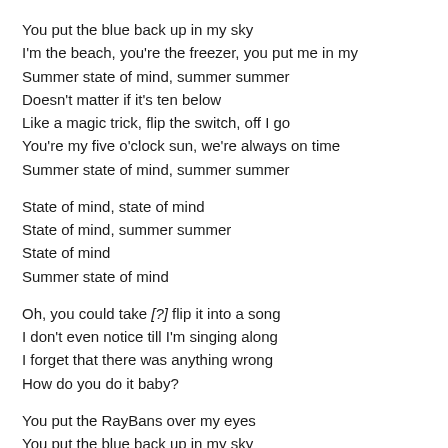You put the blue back up in my sky
I'm the beach, you're the freezer, you put me in my
Summer state of mind, summer summer
Doesn't matter if it's ten below
Like a magic trick, flip the switch, off I go
You're my five o'clock sun, we're always on time
Summer state of mind, summer summer
State of mind, state of mind
State of mind, summer summer
State of mind
Summer state of mind
Oh, you could take [?] flip it into a song
I don't even notice till I'm singing along
I forget that there was anything wrong
How do you do it baby?
You put the RayBans over my eyes
You put the blue back up in my sky
I'm the beach, you're the freezer, you put me in my